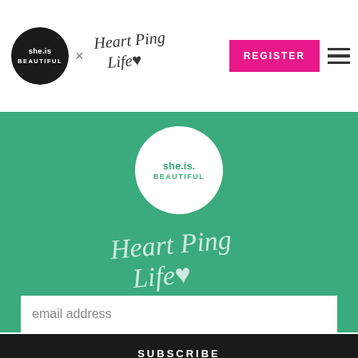[Figure (logo): she.is.beautiful black circle logo in header nav]
[Figure (logo): HeartPing Life script logo in header nav]
[Figure (other): REGISTER pink button in header]
[Figure (other): Hamburger menu icon in header]
[Figure (logo): she.is.beautiful circle logo on green background]
[Figure (logo): HeartPing Life script on green background]
SUBSCRIBE TO OUR MAILING LIST
email address
SUBSCRIBE